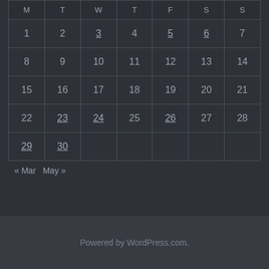| M | T | W | T | F | S | S |
| --- | --- | --- | --- | --- | --- | --- |
| 1 | 2 | 3 | 4 | 5 | 6 | 7 |
| 8 | 9 | 10 | 11 | 12 | 13 | 14 |
| 15 | 16 | 17 | 18 | 19 | 20 | 21 |
| 22 | 23 | 24 | 25 | 26 | 27 | 28 |
| 29 | 30 |  |  |  |  |  |
« Mar   May »
Powered by WordPress.com.